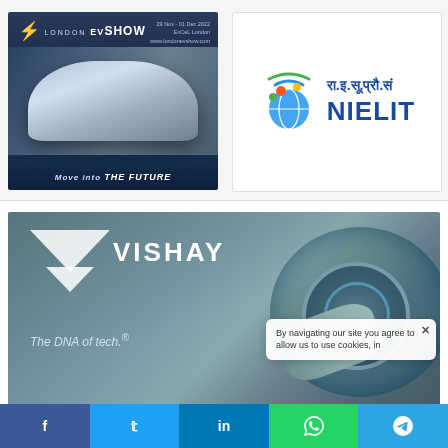[Figure (advertisement): London EV Show advertisement. Dark blue background with silver sports car. Text: 'LONDON EV SHOW', '29 Nov - 01 Dec 2022 ExCeL London www.londonevshow.com', 'Move Into THE FUTURE']
[Figure (logo): NIELIT logo - National Institute of Electronics and Information Technology. Colorful globe/people icon on left, Hindi text 'रा.इ.सू.प्रौ.सं' and 'NIELIT' in blue on right]
[Figure (advertisement): Vishay advertisement. Blue-grey background with EV charging connector. Shows Vishay triangle logo, brand name 'VISHAY', tagline 'The DNA of tech.']
By navigating our site you agree to allow us to use cookies, in
f  t  in  WhatsApp  Telegram social share bar at bottom